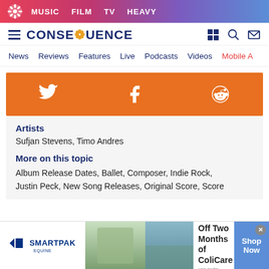MUSIC  FILM  TV  HEAVY
[Figure (logo): Consequence of Sound site logo with navigation icons]
News  Reviews  Features  Live  Podcasts  Videos  Mobile A
[Figure (infographic): Orange social sharing bar with Twitter, Facebook, and Reddit icons]
Artists
Sufjan Stevens, Timo Andres
More on this topic
Album Release Dates, Ballet, Composer, Indie Rock, Justin Peck, New Song Releases, Original Score, Score
[Figure (infographic): SmartPak advertisement banner: 50% Off Two Months of ColiCare with Shop Now button]